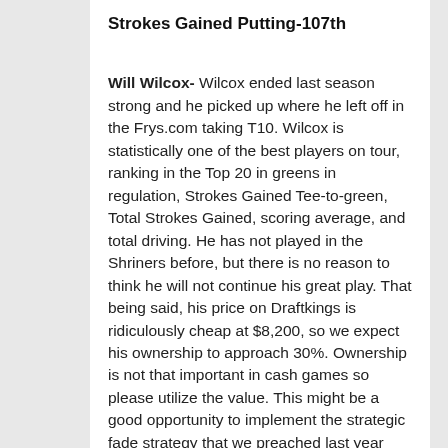Strokes Gained Putting-107th
Will Wilcox- Wilcox ended last season strong and he picked up where he left off in the Frys.com taking T10. Wilcox is statistically one of the best players on tour, ranking in the Top 20 in greens in regulation, Strokes Gained Tee-to-green, Total Strokes Gained, scoring average, and total driving. He has not played in the Shriners before, but there is no reason to think he will not continue his great play.  That being said, his price on Draftkings is ridiculously cheap at $8,200, so we expect his ownership to approach 30%.  Ownership is not that important in cash games so please utilize the value.  This might be a good opportunity to implement the strategic fade strategy that we preached last year and that paid off time after